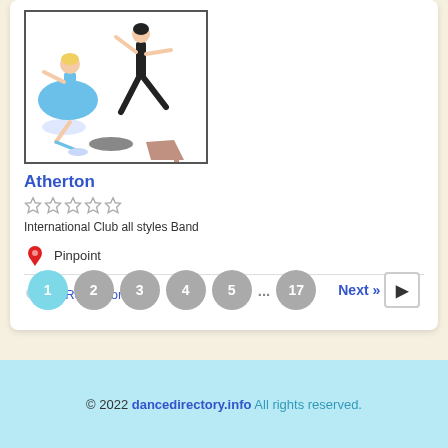[Figure (illustration): Illustration of dancers and dance shoes including ballet and heels]
Atherton
★★★★★ (empty stars rating)
International Club all styles Band
Pinpoint
0 Read more »
1 2 3 4 5 ... 17 Next »
© 2022 dancedirectory.info All rights reserved.